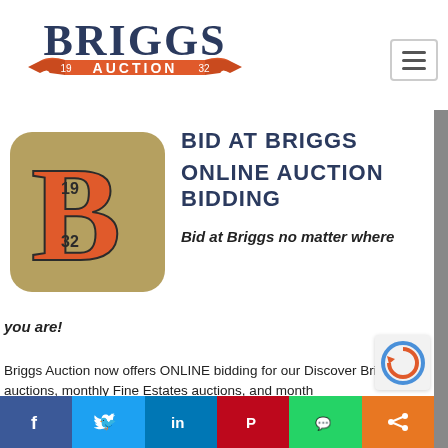[Figure (logo): Briggs Auction logo with navy blue text 'BRIGGS' and orange ribbon 'AUCTION 19 32']
[Figure (logo): Briggs Auction app icon: tan/khaki rounded square with large red/orange letter B and dates 19, 32]
BID AT BRIGGS
ONLINE AUCTION BIDDING
Bid at Briggs no matter where you are!
Briggs Auction now offers ONLINE bidding for our Discover Briggs auctions, monthly Fine Estates auctions, and month